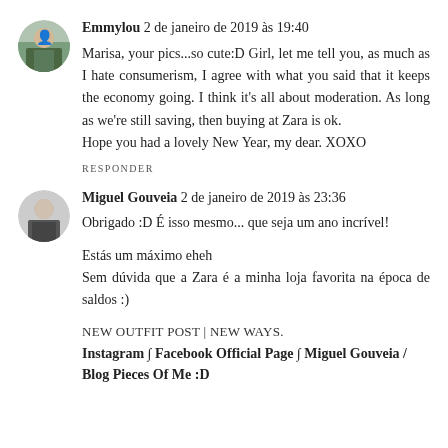Emmylou 2 de janeiro de 2019 às 19:40
Marisa, your pics...so cute:D Girl, let me tell you, as much as I hate consumerism, I agree with what you said that it keeps the economy going. I think it's all about moderation. As long as we're still saving, then buying at Zara is ok.
Hope you had a lovely New Year, my dear. XOXO
RESPONDER
Miguel Gouveia 2 de janeiro de 2019 às 23:36
Obrigado :D É isso mesmo... que seja um ano incrível!
Estás um máximo eheh
Sem dúvida que a Zara é a minha loja favorita na época de saldos :)
NEW OUTFIT POST | NEW WAYS.
Instagram ∫ Facebook Official Page ∫ Miguel Gouveia / Blog Pieces Of Me :D